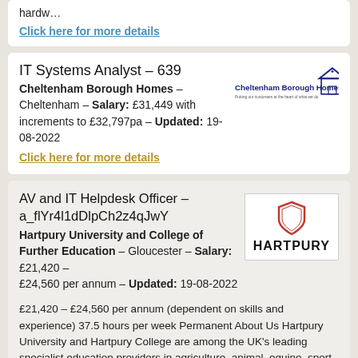hardw...
Click here for more details
IT Systems Analyst - 639
Cheltenham Borough Homes – Cheltenham – Salary: £31,449 with increments to £32,797pa – Updated: 19-08-2022
[Figure (logo): Cheltenham Borough Homes logo with house icon and tagline 'Putting our customers at the heart of what we do']
Click here for more details
AV and IT Helpdesk Officer - a_flYr4l1dDlpCh2z4qJwY
Hartpury University and College of Further Education – Gloucester – Salary: £21,420 – £24,560 per annum – Updated: 19-08-2022
[Figure (logo): Hartpury University logo with orange shield icon and HARTPURY text]
£21,420 – £24,560 per annum (dependent on skills and experience) 37.5 hours per week Permanent About Us Hartpury University and Hartpury College are among the UK's leading specialist education providers in agriculture, animal, equine, sport and veterinary nursing. Located in Gloucestershire, Hartpury University and Hartpury